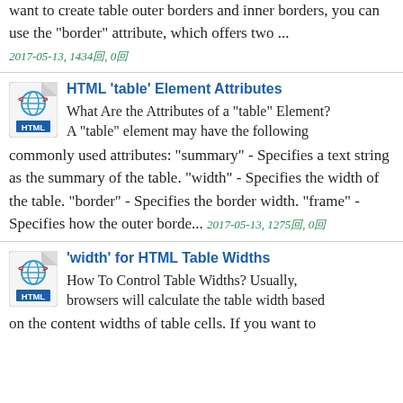want to create table outer borders and inner borders, you can use the "border" attribute, which offers two ...
2017-05-13, 1434回, 0回
HTML 'table' Element Attributes
What Are the Attributes of a "table" Element? A "table" element may have the following commonly used attributes: "summary" - Specifies a text string as the summary of the table. "width" - Specifies the width of the table. "border" - Specifies the border width. "frame" - Specifies how the outer borde...
2017-05-13, 1275回, 0回
'width' for HTML Table Widths
How To Control Table Widths? Usually, browsers will calculate the table width based on the content widths of table cells. If you want to